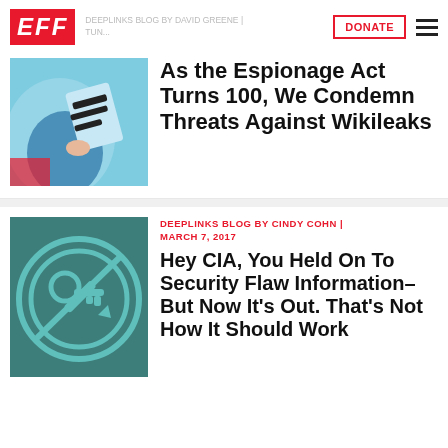EFF | DEEPLINKS BLOG BY DAVID GREENE | DONATE | menu
[Figure (illustration): EFF website screenshot showing header with EFF logo, DONATE button, navigation menu, and two article listings with thumbnails.]
As the Espionage Act Turns 100, We Condemn Threats Against Wikileaks
DEEPLINKS BLOG BY CINDY COHN | MARCH 7, 2017
Hey CIA, You Held On To Security Flaw Information–But Now It's Out. That's Not How It Should Work